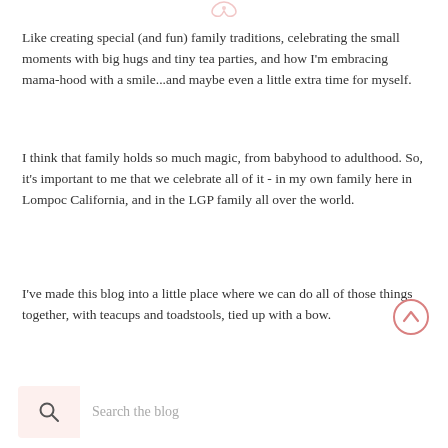[Figure (illustration): Small decorative icon at the top center of the page, faint pink/rose color]
Like creating special (and fun) family traditions, celebrating the small moments with big hugs and tiny tea parties, and how I'm embracing mama-hood with a smile...and maybe even a little extra time for myself.
I think that family holds so much magic, from babyhood to adulthood. So, it's important to me that we celebrate all of it - in my own family here in Lompoc California, and in the LGP family all over the world.
I've made this blog into a little place where we can do all of those things together, with teacups and toadstools, tied up with a bow.
[Figure (illustration): Circular scroll-to-top arrow button, pink outline, positioned bottom right]
Search the blog